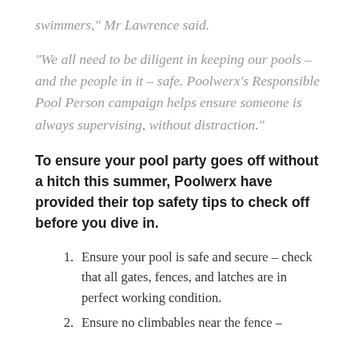swimmers," Mr Lawrence said.
"We all need to be diligent in keeping our pools – and the people in it – safe. Poolwerx's Responsible Pool Person campaign helps ensure someone is always supervising, without distraction."
To ensure your pool party goes off without a hitch this summer, Poolwerx have provided their top safety tips to check off before you dive in.
Ensure your pool is safe and secure – check that all gates, fences, and latches are in perfect working condition.
Ensure no climbables near the fence –